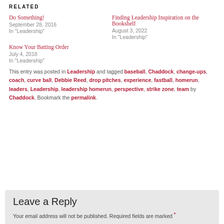RELATED
Do Something!
September 28, 2016
In "Leadership"
Finding Leadership Inspiration on the Bookshelf
August 3, 2022
In "Leadership"
Know Your Batting Order
July 4, 2018
In "Leadership"
This entry was posted in Leadership and tagged baseball, Chaddock, change-ups, coach, curve ball, Debbie Reed, drop pitches, experience, fastball, homerun, leaders, Leadership, leadership homerun, perspective, strike zone, team by Chaddock. Bookmark the permalink.
Leave a Reply
Your email address will not be published. Required fields are marked *